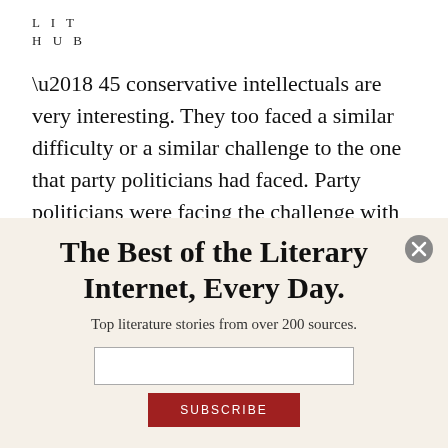LIT
HUB
’45 conservative intellectuals are very interesting. They too faced a similar difficulty or a similar challenge to the one that party politicians had faced. Party politicians were facing the challenge with varying degrees of success, namely, how do we buy into liberal
The Best of the Literary Internet, Every Day.
Top literature stories from over 200 sources.